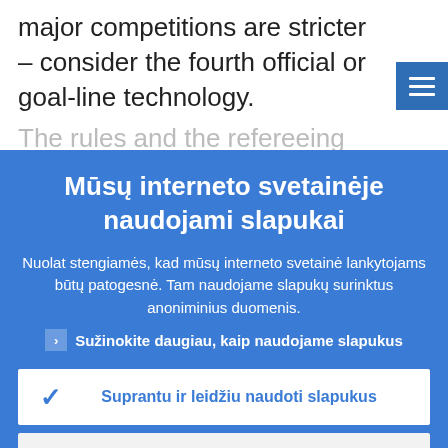major competitions are stricter – consider the fourth official or goal-line technology.
The rules and the refereeing of football thu…
Mūsų interneto svetainėje naudojami slapukai
Nuolat stengiamės, kad mūsų interneto svetainė lankytojams būtų patogesnė. Tam naudojame slapukų surinktus anoniminius duomenis.
Sužinokite daugiau, kaip naudojame slapukus
Suprantu ir leidžiu naudoti slapukus
Neleidžiu naudoti slapukų